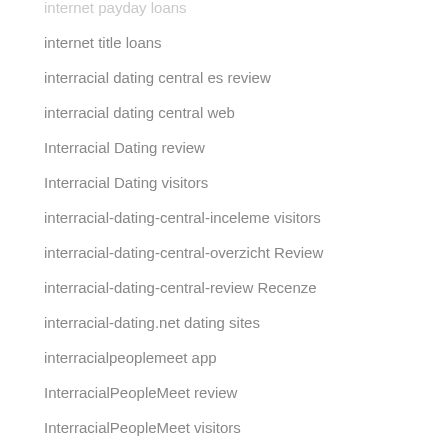internet payday loans
internet title loans
interracial dating central es review
interracial dating central web
Interracial Dating review
Interracial Dating visitors
interracial-dating-central-inceleme visitors
interracial-dating-central-overzicht Review
interracial-dating-central-review Recenze
interracial-dating.net dating sites
interracialpeoplemeet app
InterracialPeopleMeet review
InterracialPeopleMeet visitors
interracialpeoplemeet-inceleme visitors
Introvert Dating gratis